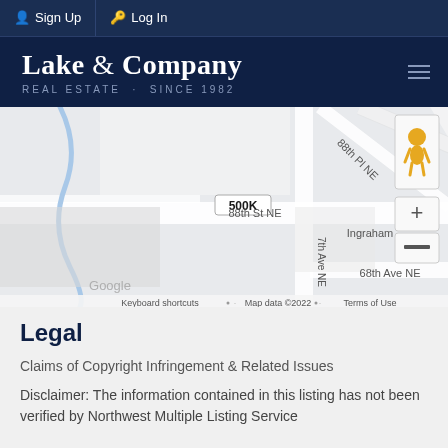Sign Up  Log In
[Figure (logo): Lake & Company Real Estate logo with text 'Lake & Company' and subtitle 'REAL ESTATE · SINCE 1982' on dark navy background]
[Figure (map): Google Maps screenshot showing area near 88th St NE, 88th Pl NE, 7th Ave NE, 68th Ave NE, and Ingraham. A price marker shows '500K'. Map data ©2022. Includes zoom controls and street view person icon.]
Legal
Claims of Copyright Infringement & Related Issues
Disclaimer: The information contained in this listing has not been verified by Northwest Multiple Listing Service